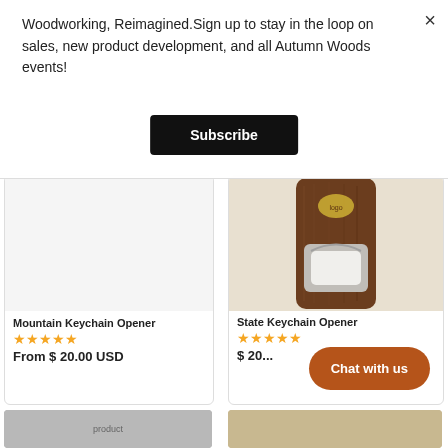Woodworking, Reimagined.Sign up to stay in the loop on sales, new product development, and all Autumn Woods events!
Subscribe
[Figure (photo): Wood bottle opener product photo - State Keychain Opener with dark walnut wood body and metal opener slot, gold logo inlay]
Mountain Keychain Opener
★★★★★
From $ 20.00 USD
State Keychain Opener
★★★★★
$ 20...
Chat with us